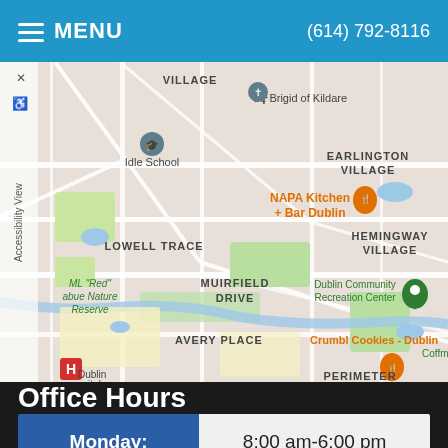MENU  (614) 792-8116
[Figure (map): Google Maps view showing Dublin, Ohio area with landmarks including St. Brigid of Kildare, Idle School, NAPA Kitchen + Bar Dublin, Earlington Village, Lowell Trace, Muirfield Drive, ML Red Ladue Nature Reserve, Hemingway Village, Dublin Community Recreation Center, Avery Place, Crumbl Cookies - Dublin, Perimeter, Dublin Hospital, and Coffm area. Orange and green map pins visible.]
Office Hours
| Day | Hours |
| --- | --- |
| Monday: | 8:00 am-6:00 pm |